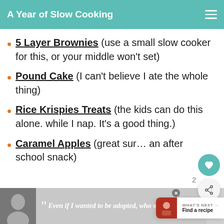A Year of Slow Cooking
5 Layer Brownies (use a small slow cooker for this, or your middle won't set)
Pound Cake (I can't believe I ate the whole thing)
Rice Krispies Treats (the kids can do this alone. while I nap. It's a good thing.)
Caramel Apples (great sur… an after school snack)
[Figure (screenshot): Advertisement bar at bottom: Dave Thomas Foundation for Adoption ad with quote text 'Even if I wanted to be adopted, who would']